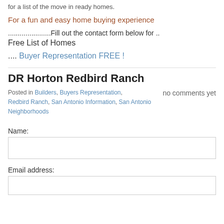for a list of the move in ready homes.
For a fun and easy home buying experience
......................Fill out the contact form below for .. Free List of Homes
.... Buyer Representation FREE !
DR Horton Redbird Ranch
Posted in Builders, Buyers Representation, Redbird Ranch, San Antonio Information, San Antonio Neighborhoods
no comments yet
Name:
Email address: